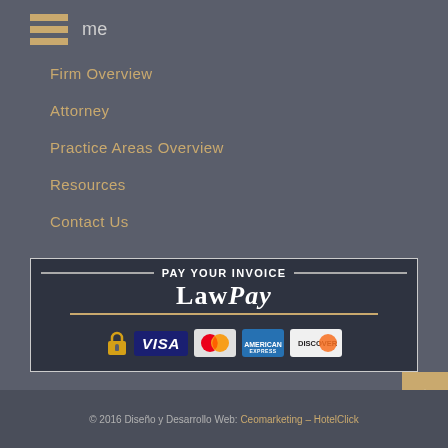Home
Firm Overview
Attorney
Practice Areas Overview
Resources
Contact Us
[Figure (logo): LawPay invoice payment banner showing PAY YOUR INVOICE header with LawPay logo and credit card icons (lock, VISA, MasterCard, American Express, Discover)]
© 2016 Diseño y Desarrollo Web: Ceomarketing – HotelClick